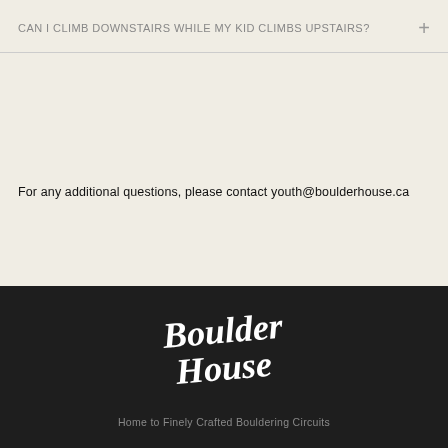CAN I CLIMB DOWNSTAIRS WHILE MY KID CLIMBS UPSTAIRS?
For any additional questions, please contact youth@boulderhouse.ca
[Figure (logo): Boulder House handwritten script logo in white on dark background]
Home to Finely Crafted Bouldering Circuits